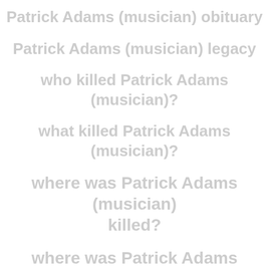Patrick Adams (musician) obituary
Patrick Adams (musician) legacy
who killed Patrick Adams (musician)?
what killed Patrick Adams (musician)?
where was Patrick Adams (musician) killed?
where was Patrick Adams (musician) murdered?
how old was Patrick Adams